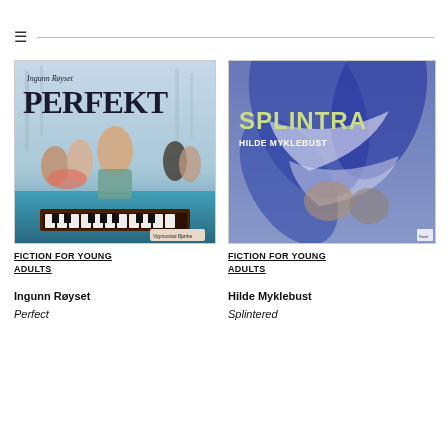≡
[Figure (illustration): Book cover: Ingunn Røyset 'Perfekt' — illustrated young adult novel cover showing a teenager at a piano keyboard surrounded by other figures, with a misty forest background. Publisher: Vigmostad & Bjørke.]
FICTION FOR YOUNG ADULTS
Ingunn Røyset
Perfect
[Figure (illustration): Book cover: Hilde Myklebust 'Splintra' — illustrated young adult novel cover with large stylised dark blue leaf/petal shapes on a purple-blue background, with a figure partially visible. Publisher: Samlaget.]
FICTION FOR YOUNG ADULTS
Hilde Myklebust
Splintered